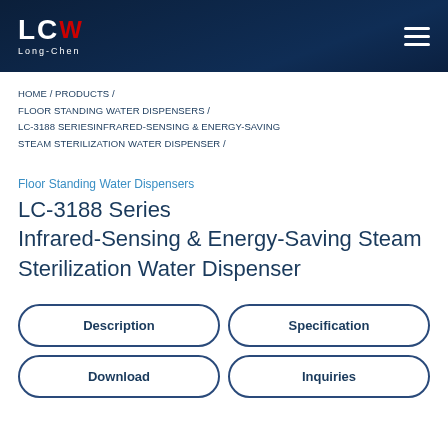LCW Long-Chen [logo] — navigation header
HOME / PRODUCTS / FLOOR STANDING WATER DISPENSERS / LC-3188 SERIESINFRARED-SENSING & ENERGY-SAVING STEAM STERILIZATION WATER DISPENSER /
Floor Standing Water Dispensers
LC-3188 Series Infrared-Sensing & Energy-Saving Steam Sterilization Water Dispenser
Description
Specification
Download
Inquiries